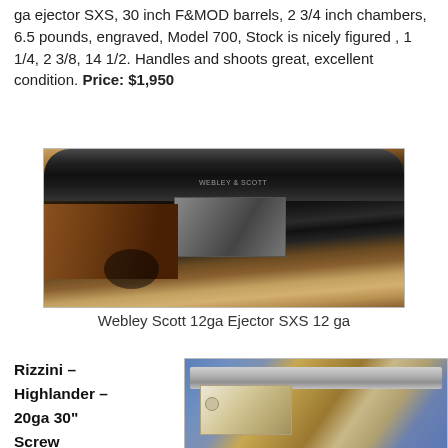ga ejector SXS, 30 inch F&MOD barrels, 2 3/4 inch chambers, 6.5 pounds, engraved, Model 700, Stock is nicely figured , 1 1/4, 2 3/8, 14 1/2. Handles and shoots great, excellent condition. Price: $1,950
[Figure (photo): Close-up photo of a Webley Scott 12 gauge side-by-side ejector shotgun showing the barrel, receiver with engraving, and stock, laid on a surface with leather straps visible]
Webley Scott 12ga Ejector SXS 12 ga
Rizzini – Highlander – 20ga 30" Screw Chokes –
[Figure (photo): Close-up photo of a Rizzini Highlander 20 gauge shotgun showing the engraved receiver and barrels against a blue background]